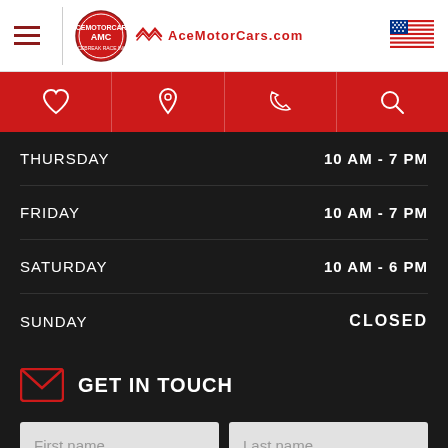AceMotorCars.com
[Figure (screenshot): Red navigation bar with heart, location pin, phone, and search icons]
| Day | Hours |
| --- | --- |
| THURSDAY | 10 AM - 7 PM |
| FRIDAY | 10 AM - 7 PM |
| SATURDAY | 10 AM - 6 PM |
| SUNDAY | CLOSED |
GET IN TOUCH
First name | Last name (form fields)